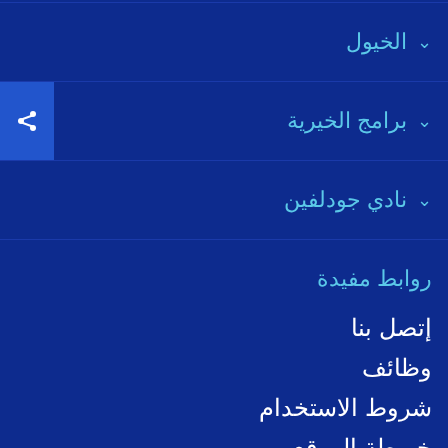الخيول
برامج الخيرية
نادي جودلفين
روابط مفيدة
إتصل بنا
وظائف
شروط الاستخدام
خريطة الموقع
سياسة الخصوصية
سياسة التطفل